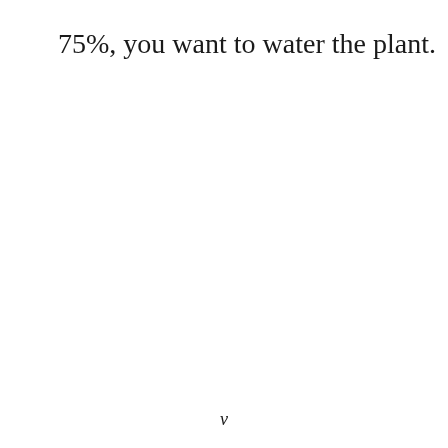75%, you want to water the plant.
v